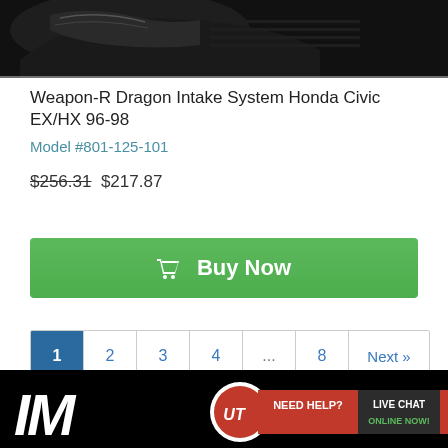[Figure (photo): Partial product photo of a car intake system or headlight on black background, cropped at top]
Weapon-R Dragon Intake System Honda Civic EX/HX 96-98
Model #801-125-101
$256.31 $217.87
Buy Now
1 2 3 4 ... 8 Next »
Sort: Recommended
[Figure (screenshot): Bottom banner with company logo and Need Help? Live Chat Online Now! badge on black background]